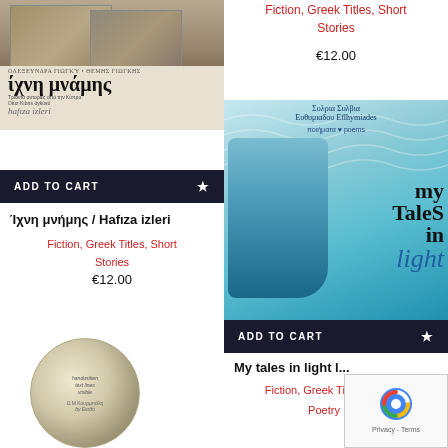[Figure (photo): Book cover for 'Ίχνη μνήμης / Hafıza izleri' showing photo collage of children and Greek/Turkish text on dark background]
ADD TO CART
Ίχνη μνήμης / Hafıza izleri
Fiction, Greek Titles, Short Stories
€12.00
[Figure (photo): Book cover for 'My tales in light' by Σολρια Συλβια Ευθυμιαδου Eflhymiades showing illustrated mermaid girl on blue patterned background]
Fiction, Greek Titles, Short Stories
€12.00
ADD TO CART
My tales in light l...
Fiction, Greek Titles, P...
Poetry
[Figure (photo): Circular book cover image at bottom left showing handwritten text and small illustration]
[Figure (other): reCAPTCHA widget overlay at bottom right corner showing Privacy - Terms]